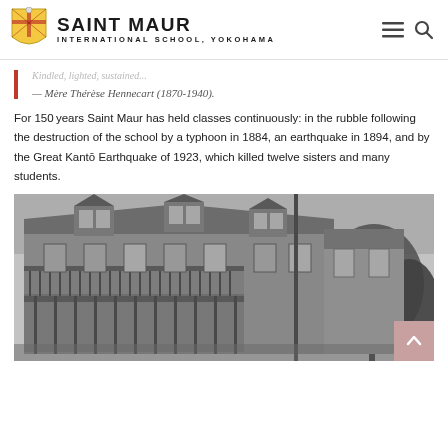SAINT MAUR INTERNATIONAL SCHOOL, YOKOHAMA
— Mère Thérèse Hennecart (1870-1940).
For 150 years Saint Maur has held classes continuously: in the rubble following the destruction of the school by a typhoon in 1884, an earthquake in 1894, and by the Great Kantō Earthquake of 1923, which killed twelve sisters and many students.
[Figure (photo): Black and white historical photograph of the Saint Maur school building, showing a multi-story wooden structure with verandas and dormer windows, surrounded by trees.]